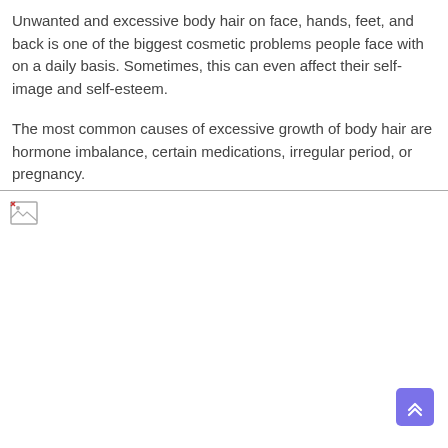Unwanted and excessive body hair on face, hands, feet, and back is one of the biggest cosmetic problems people face with on a daily basis. Sometimes, this can even affect their self-image and self-esteem.
The most common causes of excessive growth of body hair are hormone imbalance, certain medications, irregular period, or pregnancy.
[Figure (photo): Broken/missing image placeholder with a small icon in the top-left corner, large white area below text. A purple scroll-to-top button with double up-chevron arrows is in the bottom-right corner.]